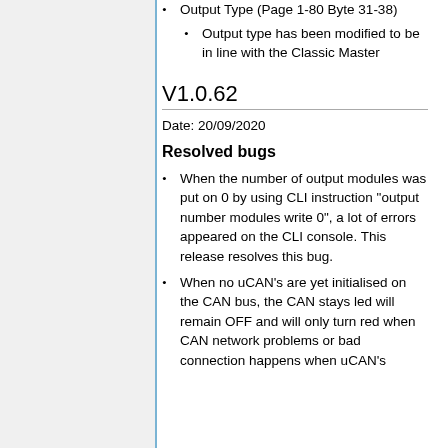Output Type (Page 1-80 Byte 31-38)
Output type has been modified to be in line with the Classic Master
V1.0.62
Date: 20/09/2020
Resolved bugs
When the number of output modules was put on 0 by using CLI instruction "output number modules write 0", a lot of errors appeared on the CLI console. This release resolves this bug.
When no uCAN's are yet initialised on the CAN bus, the CAN stays led will remain OFF and will only turn red when CAN network problems or bad connection happens when uCAN's